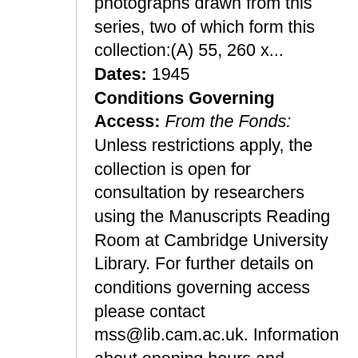photographs drawn from this series, two of which form this collection:(A) 55, 260 x... Dates: 1945 Conditions Governing Access: From the Fonds: Unless restrictions apply, the collection is open for consultation by researchers using the Manuscripts Reading Room at Cambridge University Library. For further details on conditions governing access please contact mss@lib.cam.ac.uk. Information about opening hours and obtaining a Cambridge University Library reader's ticket is